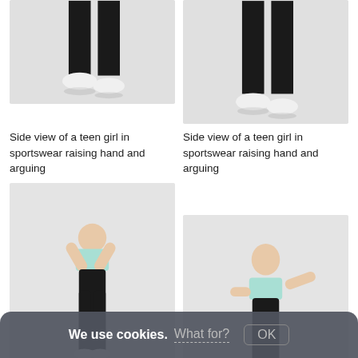[Figure (photo): Top view showing legs/feet of a teen girl in black sportswear and white shoes, left column]
[Figure (photo): Top view showing legs/feet of a teen girl in black sportswear and white shoes, right column]
Side view of a teen girl in sportswear raising hand and arguing
Side view of a teen girl in sportswear raising hand and arguing
[Figure (photo): Teen girl in mint sports bra and black leggings, hands raised near face, left column]
[Figure (photo): Teen girl in mint sports bra and black leggings, pointing gesture, right column]
We use cookies. What for? OK